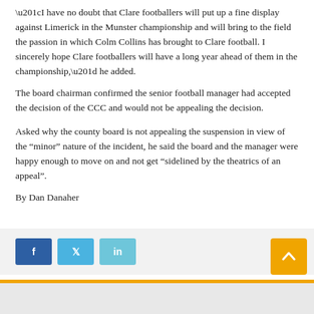“I have no doubt that Clare footballers will put up a fine display against Limerick in the Munster championship and will bring to the field the passion in which Colm Collins has brought to Clare football. I sincerely hope Clare footballers will have a long year ahead of them in the championship,” he added.
The board chairman confirmed the senior football manager had accepted the decision of the CCC and would not be appealing the decision.
Asked why the county board is not appealing the suspension in view of the “minor” nature of the incident, he said the board and the manager were happy enough to move on and not get “sidelined by the theatrics of an appeal”.
By Dan Danaher